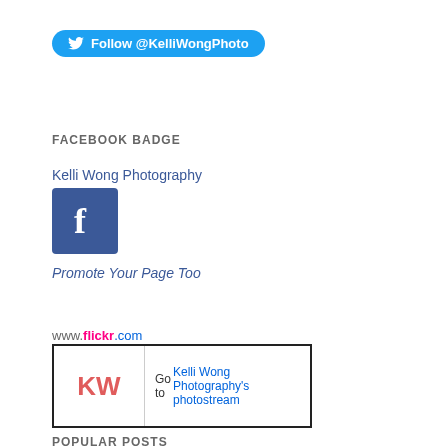[Figure (logo): Twitter Follow button for @KelliWongPhoto]
FACEBOOK BADGE
Kelli Wong Photography
[Figure (logo): Facebook icon/logo blue square with white f]
Promote Your Page Too
www.flickr.com
[Figure (other): Flickr widget with KW initials logo and text: Go to Kelli Wong Photography's photostream]
POPULAR POSTS
[Figure (photo): Dark/black photograph at bottom of page]